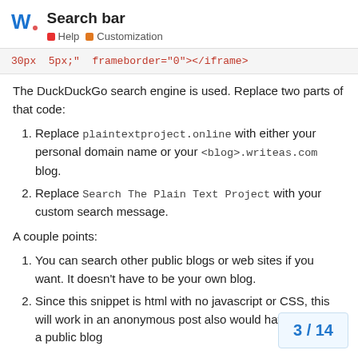Search bar | Help | Customization
30px 5px;" frameborder="0"></iframe>
The DuckDuckGo search engine is used. Replace two parts of that code:
Replace plaintextproject.online with either your personal domain name or your <blog>.writeas.com blog.
Replace Search The Plain Text Project with your custom search message.
A couple points:
You can search other public blogs or web sites if you want. It doesn't have to be your own blog.
Since this snippet is html with no javascript or CSS, this will work in an anonymous post also would have to search a public blog
3 / 14